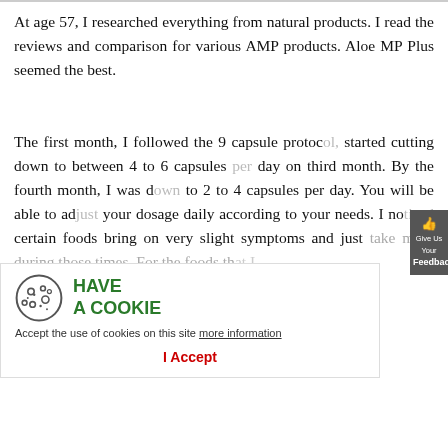At age 57, I researched everything from natural products. I read the reviews and comparison for various AMP products. Aloe MP Plus seemed the best.
The first month, I followed the 9 capsule protocol, started cutting down to between 4 to 6 capsules per day on third month. By the fourth month, I was down to 2 to 4 capsules per day. You will be able to adjust your dosage daily according to your needs. I noticed certain foods bring on very slight symptoms and just take more during those times. For the foods that I tolerate, I take less. I did start eating more healthy which helps stopped but I do that on and off. It is not essential either. The recommended program are great but did not follow it.
[Figure (other): Cookie consent banner with cookie icon, 'HAVE A COOKIE' heading in green, description text, and 'I Accept' button in red]
[Figure (other): Feedback tab on right side of page, dark grey, with thumbs up icon and 'Give Us Your Feedback' text]